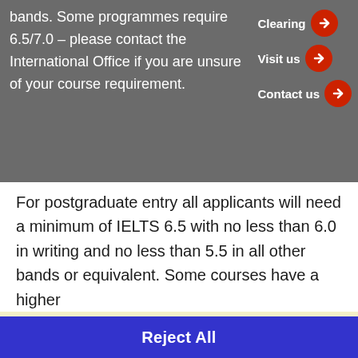bands. Some programmes require 6.5/7.0 – please contact the International Office if you are unsure of your course requirement.
Clearing →
Visit us →
Contact us →
For postgraduate entry all applicants will need a minimum of IELTS 6.5 with no less than 6.0 in writing and no less than 5.5 in all other bands or equivalent. Some courses have a higher
This website uses cookies to personalise content and ads, to provide social media features and to analyse our traffic. We also share information about your use of our site with our social media, advertising and analytics partners. Read our Cookies Policy
Cookies Settings
Reject All